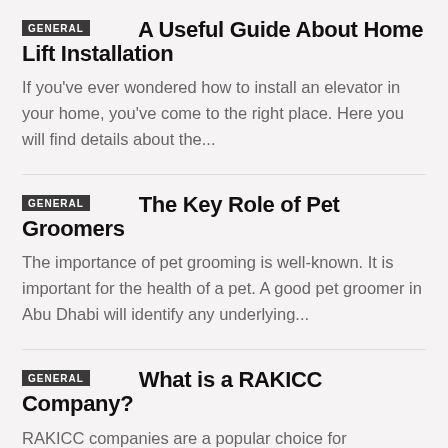A Useful Guide About Home Lift Installation
If you’ve ever wondered how to install an elevator in your home, you’ve come to the right place. Here you will find details about the…
The Key Role of Pet Groomers
The importance of pet grooming is well-known. It is important for the health of a pet. A good pet groomer in Abu Dhabi will identify any underlying…
What is a RAKICC Company?
RAKICC companies are a popular choice for entrepreneurs looking to set up a business in Dubai or